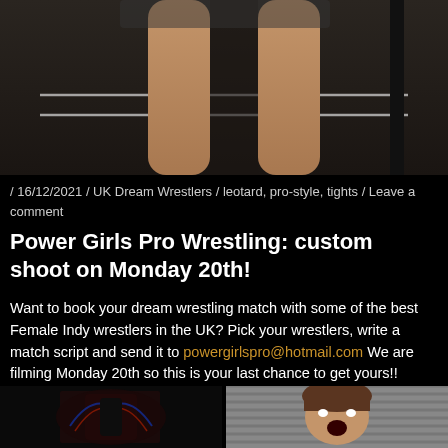[Figure (photo): Photo of a wrestler's legs in a wrestling ring, viewed from below the waist, with ring ropes visible in the background.]
/ 16/12/2021 / UK Dream Wrestlers / leotard, pro-style, tights / Leave a comment
Power Girls Pro Wrestling: custom shoot on Monday 20th!
Want to book your dream wrestling match with some of the best Female Indy wrestlers in the UK? Pick your wrestlers, write a match script and send it to powergirlspro@hotmail.com We are filming Monday 20th so this is your last chance to get yours!!
[Figure (photo): Two smaller photos at the bottom: left shows a wrestler with dramatic lighting, right shows a female wrestler with her mouth open.]